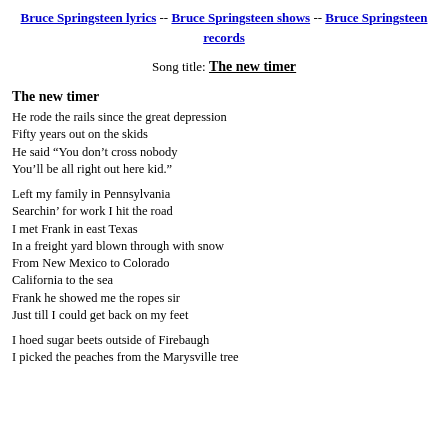Bruce Springsteen lyrics -- Bruce Springsteen shows -- Bruce Springsteen records
Song title: The new timer
The new timer
He rode the rails since the great depression
Fifty years out on the skids
He said “You don’t cross nobody
You’ll be all right out here kid.”
Left my family in Pennsylvania
Searchin’ for work I hit the road
I met Frank in east Texas
In a freight yard blown through with snow
From New Mexico to Colorado
California to the sea
Frank he showed me the ropes sir
Just till I could get back on my feet
I hoed sugar beets outside of Firebaugh
I picked the peaches from the Marysville tree